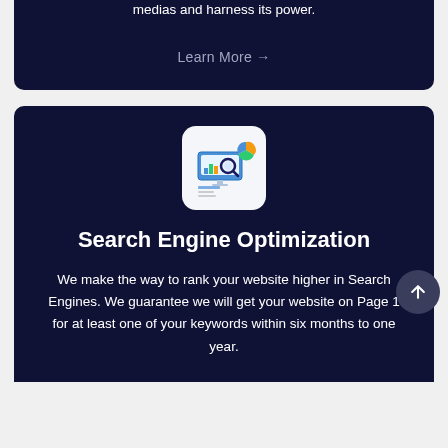medias and harness its power.
Learn More →
[Figure (illustration): SEO illustration: a computer monitor with a magnifying glass, bar charts, pie chart, and analytics icons on a light grey/white rounded square background]
Search Engine Optimization
We make the way to rank your website higher in Search Engines. We guarantee we will get your website on Page 1 for at least one of your keywords within six months to one year.